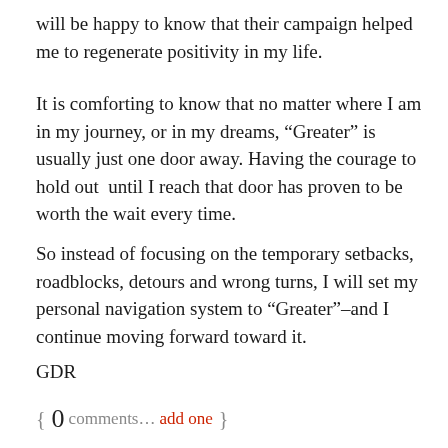will be happy to know that their campaign helped me to regenerate positivity in my life.
It is comforting to know that no matter where I am in my journey, or in my dreams, “Greater” is usually just one door away. Having the courage to hold out until I reach that door has proven to be worth the wait every time.
So instead of focusing on the temporary setbacks, roadblocks, detours and wrong turns, I will set my personal navigation system to “Greater”–and I continue moving forward toward it.
GDR
{ 0 comments… add one }